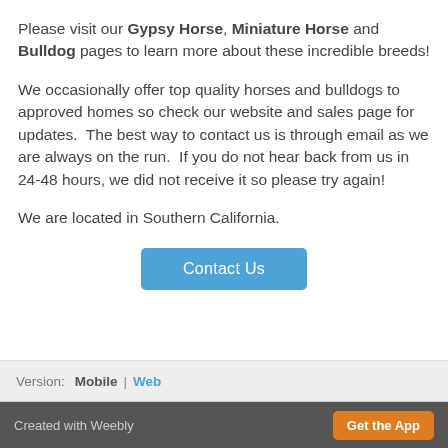Please visit our Gypsy Horse, Miniature Horse and Bulldog pages to learn more about these incredible breeds!
We occasionally offer top quality horses and bulldogs to approved homes so check our website and sales page for updates.  The best way to contact us is through email as we are always on the run.  If you do not hear back from us in 24-48 hours, we did not receive it so please try again!
We are located in Southern California.
[Figure (other): Blue 'Contact Us' button]
Version: Mobile | Web
Created with Weebly   Get the App